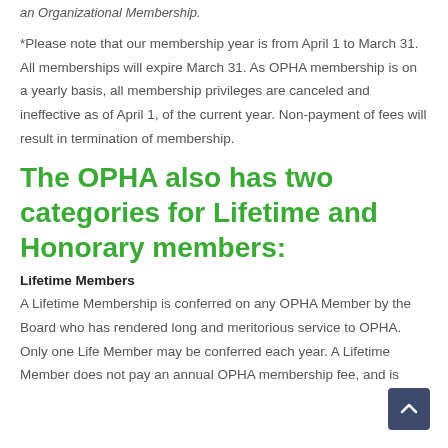an Organizational Membership.
*Please note that our membership year is from April 1 to March 31. All memberships will expire March 31. As OPHA membership is on a yearly basis, all membership privileges are canceled and ineffective as of April 1, of the current year. Non-payment of fees will result in termination of membership.
The OPHA also has two categories for Lifetime and Honorary members:
Lifetime Members
A Lifetime Membership is conferred on any OPHA Member by the Board who has rendered long and meritorious service to OPHA. Only one Life Member may be conferred each year. A Lifetime Member does not pay an annual OPHA membership fee, and is